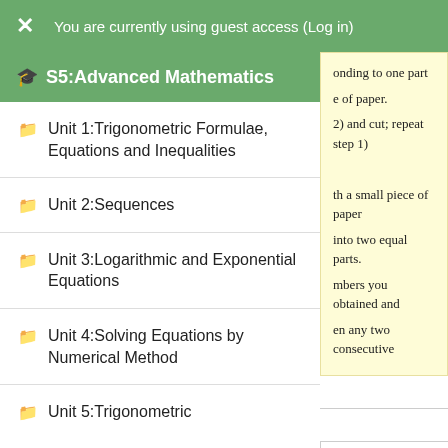✕  You are currently using guest access (Log in)
🎓 S5:Advanced Mathematics
Unit 1:Trigonometric Formulae, Equations and Inequalities
Unit 2:Sequences
Unit 3:Logarithmic and Exponential Equations
Unit 4:Solving Equations by Numerical Method
Unit 5:Trigonometric
onding to one part e of paper. 2) and cut; repeat step 1) th a small piece of paper into two equal parts. mbers you obtained and en any two consecutive